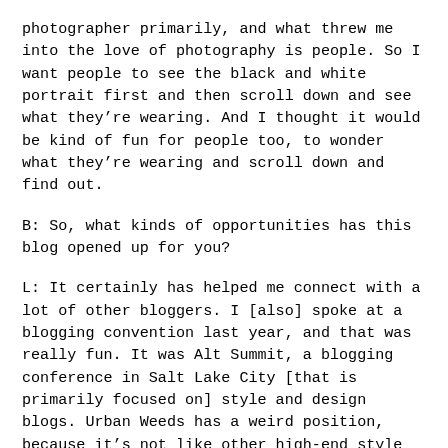photographer primarily, and what threw me into the love of photography is people. So I want people to see the black and white portrait first and then scroll down and see what they're wearing. And I thought it would be kind of fun for people too, to wonder what they're wearing and scroll down and find out.
B: So, what kinds of opportunities has this blog opened up for you?
L: It certainly has helped me connect with a lot of other bloggers. I [also] spoke at a blogging convention last year, and that was really fun. It was Alt Summit, a blogging conference in Salt Lake City [that is primarily focused on] style and design blogs. Urban Weeds has a weird position, because it's not like other high-end style and design blogs, like some of the blogs that come out of New York. Portland will never be anything